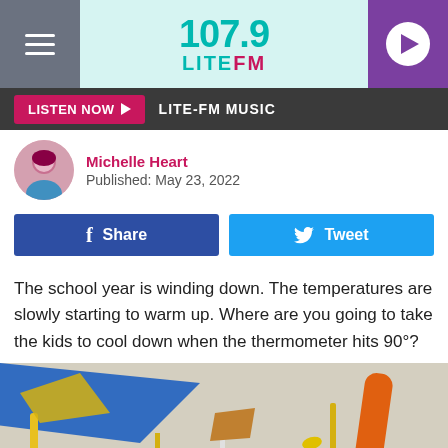107.9 LITE FM
LISTEN NOW  LITE-FM MUSIC
Michelle Heart
Published: May 23, 2022
Share  Tweet
The school year is winding down. The temperatures are slowly starting to warm up. Where are you going to take the kids to cool down when the thermometer hits 90°?
[Figure (photo): Colorful playground equipment/sculptures against a cloudy sky with trees in background, photographed at dusk or overcast day]